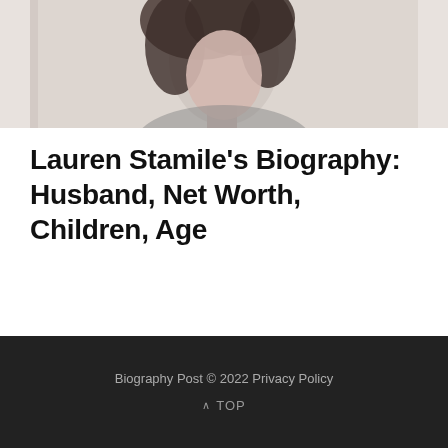[Figure (photo): Partial photo of Lauren Stamile, a woman with dark curly hair, cropped at the top of the page showing face and upper body against a light background.]
Lauren Stamile's Biography: Husband, Net Worth, Children, Age
Biography Post © 2022 Privacy Policy
^ TOP